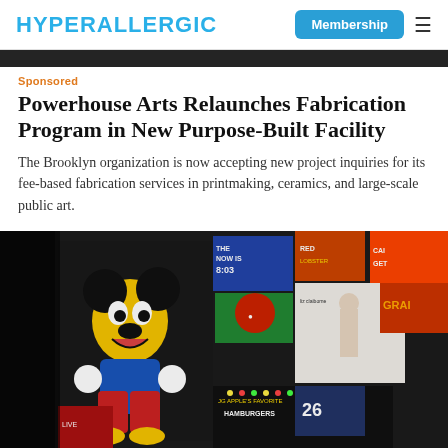HYPERALLERGIC | Membership ≡
Sponsored
Powerhouse Arts Relaunches Fabrication Program in New Purpose-Built Facility
The Brooklyn organization is now accepting new project inquiries for its fee-based fabrication services in printmaking, ceramics, and large-scale public art.
[Figure (photo): Interior photo showing a large-scale printed mural/collage wall featuring a Mickey Mouse-like cartoon character surrounded by colorful billboard-style imagery including Times Square advertisements and various pop art elements]